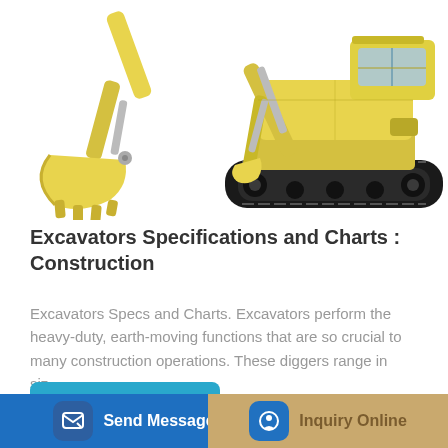[Figure (photo): Yellow excavator bucket arm on the left and a full yellow tracked excavator machine on the right, white background]
Excavators Specifications and Charts : Construction
Excavators Specs and Charts. Excavators perform the heavy-duty, earth-moving functions that are so crucial to many construction operations. These diggers range in siz...
Learn More
Send Message
Inquiry Online